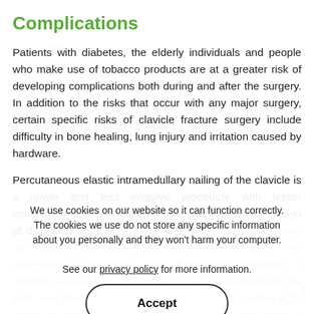Complications
Patients with diabetes, the elderly individuals and people who make use of tobacco products are at a greater risk of developing complications both during and after the surgery. In addition to the risks that occur with any major surgery, certain specific risks of clavicle fracture surgery include difficulty in bone healing, lung injury and irritation caused by hardware.
Percutaneous elastic intramedullary nailing of the clavicle is a newer and less invasive procedure with lesser complications. It is considered as a safe method for fixation of displaced clavicle fractures in adolescents and athletes as it allows rapid healing and faster return to sports. The procedure is performed under fluoroscopic guidance. It involves a small 1 cm skin incision near the sternoclavicular joint, and then a hole is drilled in the anterior cortex after which an elastic nail is inserted into the medullary canal of the clavicle. Then the nail is passed on to reach the fracture site. A second operation to remove the nail will be performed later. See our privacy policy for more information.
We use cookies on our website so it can function correctly. The cookies we use do not store any specific information about you personally and they won't harm your computer.

See our privacy policy for more information.
Accept